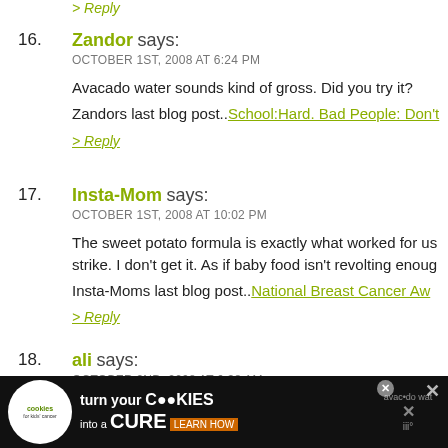> Reply
16. Zandor says:
OCTOBER 1ST, 2008 AT 6:24 PM

Avacado water sounds kind of gross. Did you try it?
Zandors last blog post..School:Hard. Bad People: Don't
> Reply
17. Insta-Mom says:
OCTOBER 1ST, 2008 AT 10:02 PM

The sweet potato formula is exactly what worked for us strike. I don't get it. As if baby food isn't revolting enoug
Insta-Moms last blog post..National Breast Cancer Aw
> Reply
18. ali says:
OCTOBER 2ND, 2008 AT 6:38 AM

if i didn't think the phrase "i just threw up in my mouth"
[Figure (screenshot): Advertisement banner: cookies for kids cancer - turn your cookies into a CURE LEARN HOW]